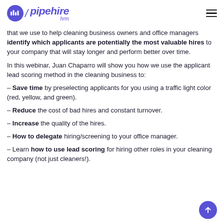pipehire hrm
that we use to help cleaning business owners and office managers identify which applicants are potentially the most valuable hires to your company that will stay longer and perform better over time.
In this webinar, Juan Chaparro will show you how we use the applicant lead scoring method in the cleaning business to:
– Save time by preselecting applicants for you using a traffic light color (red, yellow, and green).
– Reduce the cost of bad hires and constant turnover.
– Increase the quality of the hires.
– How to delegate hiring/screening to your office manager.
– Learn how to use lead scoring for hiring other roles in your cleaning company (not just cleaners!).